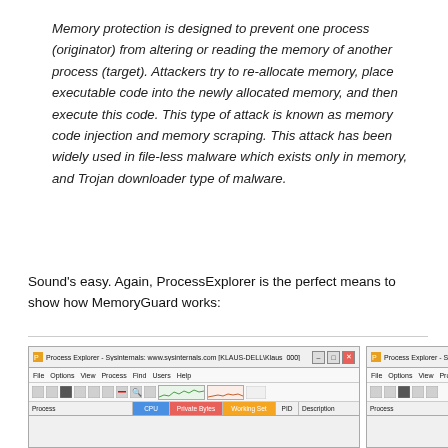Memory protection is designed to prevent one process (originator) from altering or reading the memory of another process (target). Attackers try to re-allocate memory, place executable code into the newly allocated memory, and then execute this code. This type of attack is known as memory code injection and memory scraping. This attack has been widely used in file-less malware which exists only in memory, and Trojan downloader type of malware.
Sound's easy. Again, ProcessExplorer is the perfect means to show how MemoryGuard works:
[Figure (screenshot): Two Process Explorer windows side by side showing Sysinternals tool with CPU, Private Bytes, Working Set, PID, and Description columns visible in the column headers.]